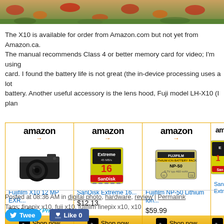[Figure (photo): Autumn leaves and grass background photo, cropped at top of page]
The X10 is available for order from Amazon.com but not yet from Amazon.ca. The manual recommends Class 4 or better memory card for video; I'm using a card. I found the battery life is not great (the in-device processing uses a lot battery. Another useful accessory is the lens hood, Fuji model LH-X10 (I plan
[Figure (screenshot): Amazon product widget row showing: Fujifilm X10 12 MP EXR... at $246.00 with Prime badge, SanDisk Extreme 16... at $12.13, Fujifilm NP-50 Lithium Ion... at $59.99, and a partially visible fourth card (SanDisk Extreme). Each card has Shop now button.]
Posted at 08:36 AM in digital photo, hardware, review | Permalink
Tags: finepix x10, fuji x10, fujifilm finepix x10, x10
Tweet  Like 0